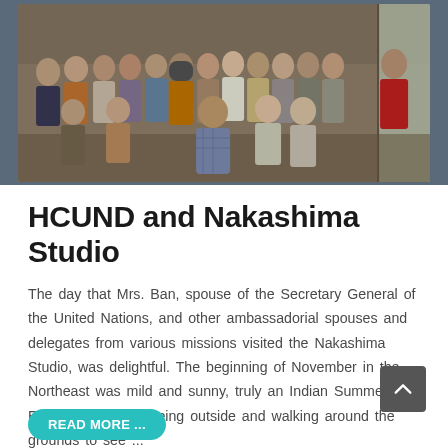[Figure (photo): Group photo of approximately 20-25 women and one man posing together inside a wooden studio space. The group includes women of various ethnicities, some wearing name tags. One man is seated in the center front wearing a plaid shirt.]
HCUND and Nakashima Studio
The day that Mrs. Ban, spouse of the Secretary General of the United Nations, and other ambassadorial spouses and delegates from various missions visited the Nakashima Studio, was delightful. The beginning of November in the Northeast was mild and sunny, truly an Indian Summer. Everyone enjoyed being outside and walking around the grounds to see ...